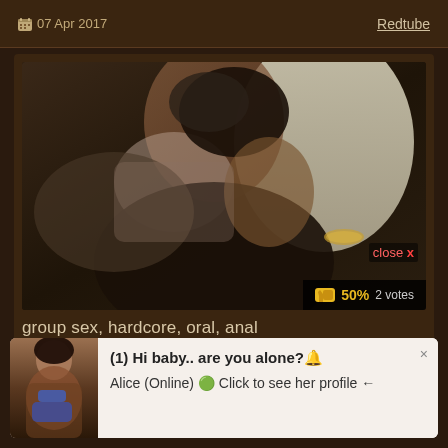07 Apr 2017   Redtube
[Figure (photo): Video thumbnail showing people, with 50% rating and 2 votes overlay, close button]
group sex, hardcore, oral, anal
08 Apr 2017   Redtube
(1) Hi baby.. are you alone?🔔
Alice (Online) 🟢 Click to see her profile ←